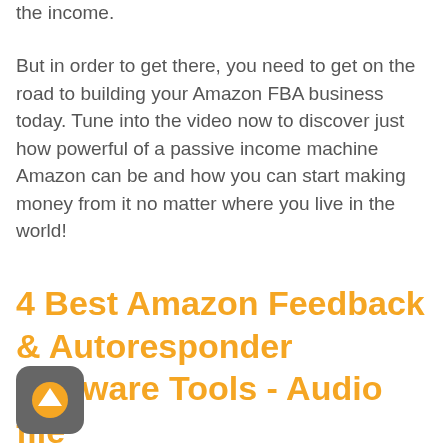the income.
But in order to get there, you need to get on the road to building your Amazon FBA business today. Tune into the video now to discover just how powerful of a passive income machine Amazon can be and how you can start making money from it no matter where you live in the world!
4 Best Amazon Feedback & Autoresponder Software Tools - Audio file